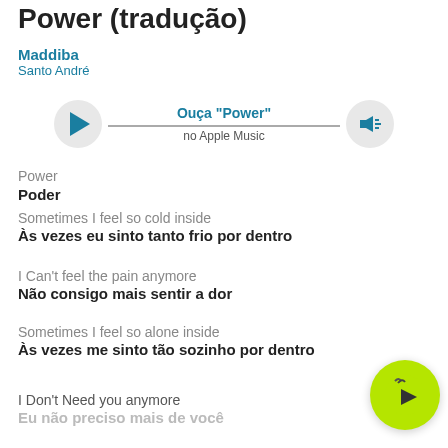Power (tradução)
Maddiba
Santo André
[Figure (screenshot): Music player widget showing play button, track title 'Ouça "Power"', subtitle 'no Apple Music', and volume icon]
Power
Poder
Sometimes I feel so cold inside
Às vezes eu sinto tanto frio por dentro
I Can't feel the pain anymore
Não consigo mais sentir a dor
Sometimes I feel so alone inside
Às vezes me sinto tão sozinho por dentro
I Don't Need you anymore
Eu não preciso mais de você